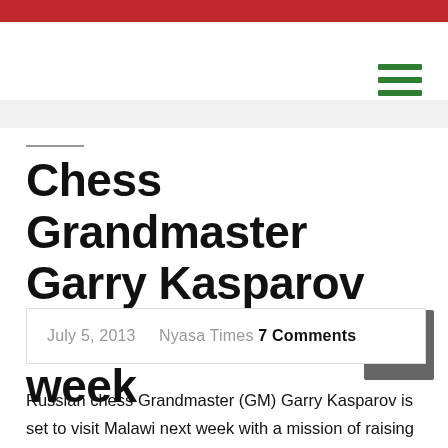Chess Grandmaster Garry Kasparov visits Malawi next week
July 5, 2013  Nyasa Times 7 Comments
Russian chess Grandmaster (GM) Garry Kasparov is set to visit Malawi next week with a mission of raising awareness regarding the role the game of chess can play as an educational tool.